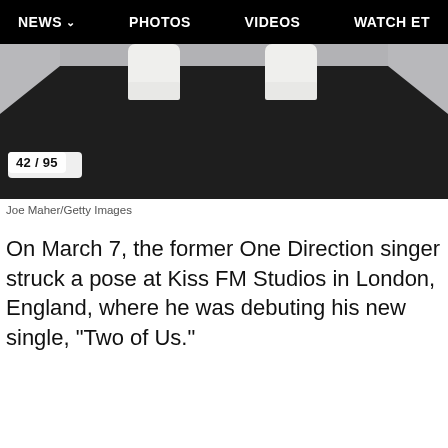NEWS  PHOTOS  VIDEOS  WATCH ET
[Figure (photo): Partial view of a person's feet in white sneakers on a dark carpet/floor surface, with a gray background visible at the top.]
42 / 95
Joe Maher/Getty Images
On March 7, the former One Direction singer struck a pose at Kiss FM Studios in London, England, where he was debuting his new single, "Two of Us."